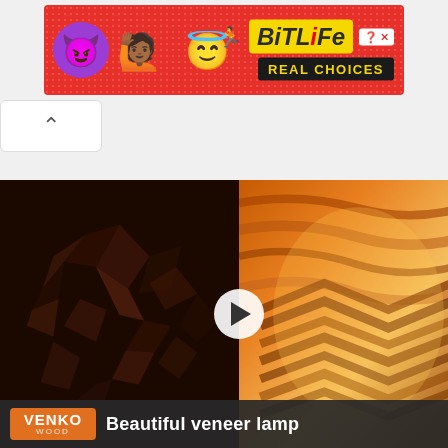[Figure (screenshot): BitLife advertisement banner with red dotted background, devil and angel emojis, BitLife logo in yellow, and 'REAL CHOICES' text in dark bar]
[Figure (screenshot): Web browser UI element showing an upward chevron/arrow button on white background]
[Figure (screenshot): Video thumbnail showing wood mosaic artwork on left and illuminated veneer lamp on right, with play button in center, VENKO WOOD logo and 'Beautiful veneer lamp' text at bottom]